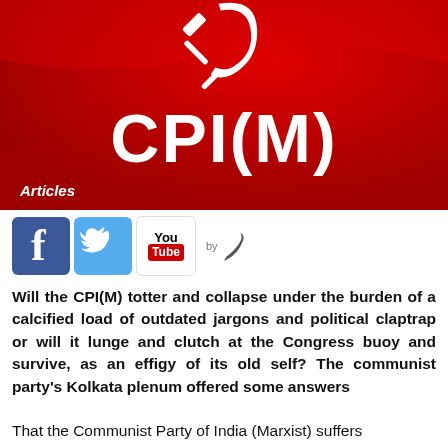[Figure (photo): CPI(M) logo on red flag background with hammer and sickle symbol. White text reads 'CPI(M)' and 'Articles' label in bottom left.]
[Figure (infographic): Social media icons: Facebook, Twitter, YouTube, and a 'by' feather logo]
Will the CPI(M) totter and collapse under the burden of a calcified load of outdated jargons and political claptrap or will it lunge and clutch at the Congress buoy and survive, as an effigy of its old self? The communist party's Kolkata plenum offered some answers
That the Communist Party of India (Marxist) suffers